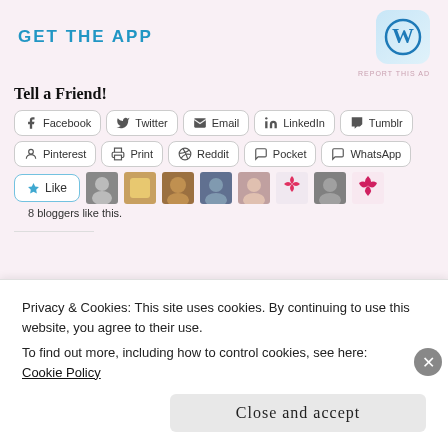[Figure (logo): GET THE APP text with WordPress logo icon (W in blue circle on light blue rounded square)]
REPORT THIS AD
Tell a Friend!
Facebook  Twitter  Email  LinkedIn  Tumblr  Pinterest  Print  Reddit  Pocket  WhatsApp share buttons
[Figure (photo): Like button with star icon, followed by 8 blogger avatar photos]
8 bloggers like this.
Privacy & Cookies: This site uses cookies. By continuing to use this website, you agree to their use.
To find out more, including how to control cookies, see here:
Cookie Policy
Close and accept